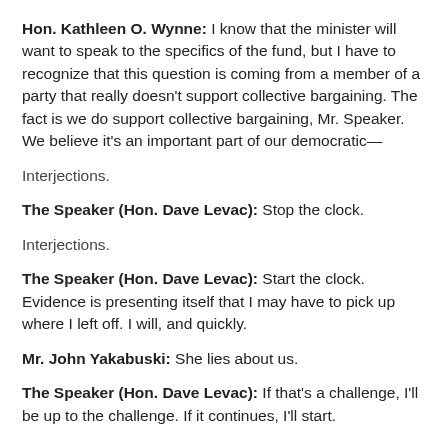Hon. Kathleen O. Wynne: I know that the minister will want to speak to the specifics of the fund, but I have to recognize that this question is coming from a member of a party that really doesn't support collective bargaining. The fact is we do support collective bargaining, Mr. Speaker. We believe it's an important part of our democratic—
Interjections.
The Speaker (Hon. Dave Levac): Stop the clock.
Interjections.
The Speaker (Hon. Dave Levac): Start the clock. Evidence is presenting itself that I may have to pick up where I left off. I will, and quickly.
Mr. John Yakabuski: She lies about us.
The Speaker (Hon. Dave Levac): If that's a challenge, I'll be up to the challenge. If it continues, I'll start.